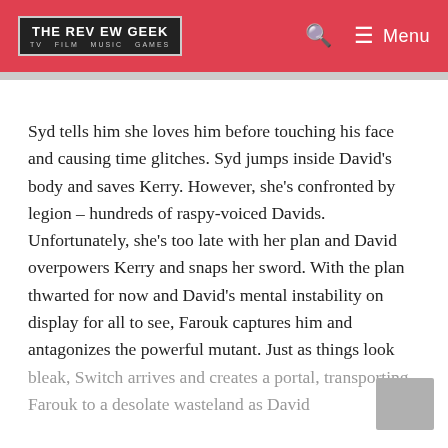THE REVIEW GEEK  TV FILM MUSIC GAMES
Syd tells him she loves him before touching his face and causing time glitches. Syd jumps inside David's body and saves Kerry. However, she's confronted by legion – hundreds of raspy-voiced Davids. Unfortunately, she's too late with her plan and David overpowers Kerry and snaps her sword. With the plan thwarted for now and David's mental instability on display for all to see, Farouk captures him and antagonizes the powerful mutant. Just as things look bleak, Switch arrives and creates a portal, transporting Farouk to a desolate wasteland as David